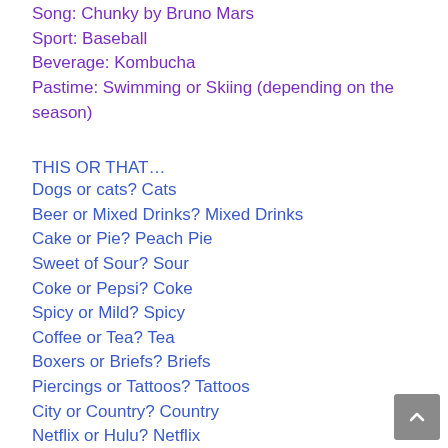Song: Chunky by Bruno Mars
Sport: Baseball
Beverage: Kombucha
Pastime: Swimming or Skiing (depending on the season)
THIS OR THAT…
Dogs or cats? Cats
Beer or Mixed Drinks? Mixed Drinks
Cake or Pie? Peach Pie
Sweet of Sour? Sour
Coke or Pepsi? Coke
Spicy or Mild? Spicy
Coffee or Tea? Tea
Boxers or Briefs? Briefs
Piercings or Tattoos? Tattoos
City or Country? Country
Netflix or Hulu? Netflix